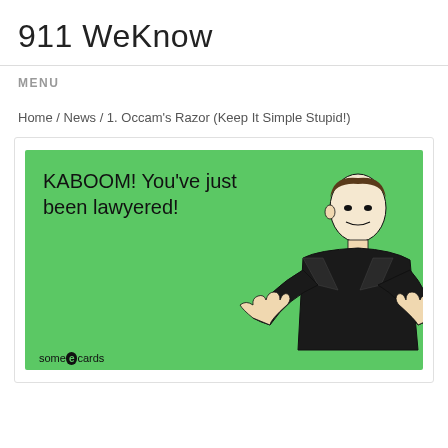911 WeKnow
MENU
Home / News / 1. Occam's Razor (Keep It Simple Stupid!)
[Figure (illustration): A green ecard-style meme image with text 'KABOOM! You've just been lawyered!' and a black-and-white illustration of a man in a suit pointing with both hands. The somecards watermark appears at the bottom.]